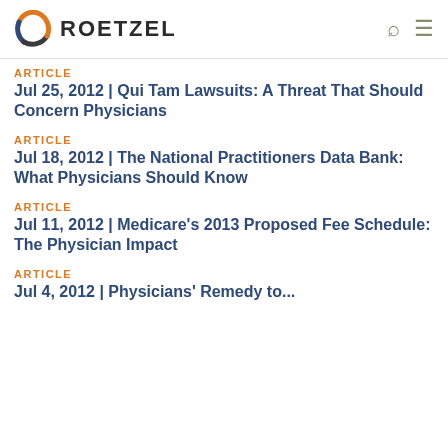ROETZEL
ARTICLE
Jul 25, 2012 | Qui Tam Lawsuits: A Threat That Should Concern Physicians
ARTICLE
Jul 18, 2012 | The National Practitioners Data Bank: What Physicians Should Know
ARTICLE
Jul 11, 2012 | Medicare's 2013 Proposed Fee Schedule: The Physician Impact
ARTICLE
Jul 4, 2012 | Physicians' Remedy to...